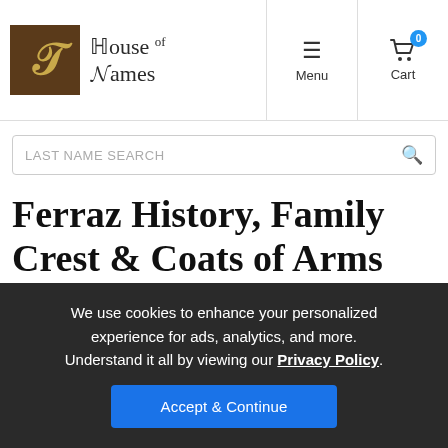House of Names — Menu | Cart (0)
LAST NAME SEARCH
Ferraz History, Family Crest & Coats of Arms
Origins Available: Spain
We use cookies to enhance your personalized experience for ads, analytics, and more. Understand it all by viewing our Privacy Policy. Accept & Continue